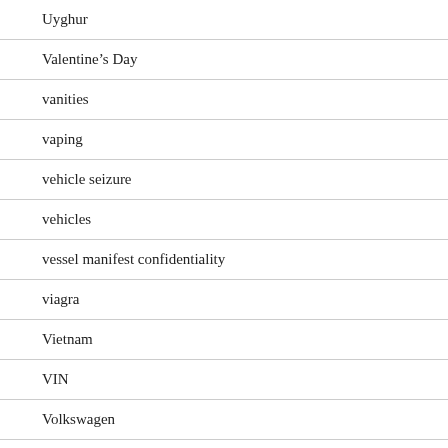Uyghur
Valentine's Day
vanities
vaping
vehicle seizure
vehicles
vessel manifest confidentiality
viagra
Vietnam
VIN
Volkswagen
VQIP
WCO
whistleblower
Whitehouse